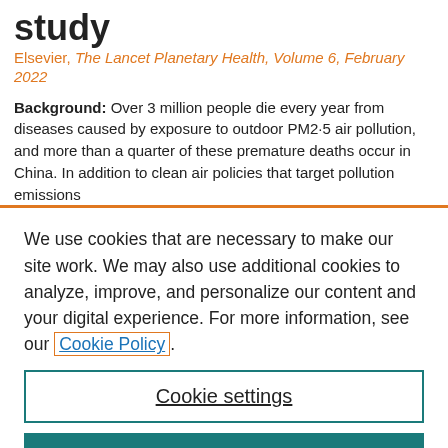study
Elsevier, The Lancet Planetary Health, Volume 6, February 2022
Background: Over 3 million people die every year from diseases caused by exposure to outdoor PM2·5 air pollution, and more than a quarter of these premature deaths occur in China. In addition to clean air policies that target pollution emissions
We use cookies that are necessary to make our site work. We may also use additional cookies to analyze, improve, and personalize our content and your digital experience. For more information, see our Cookie Policy.
Cookie settings
Accept all cookies